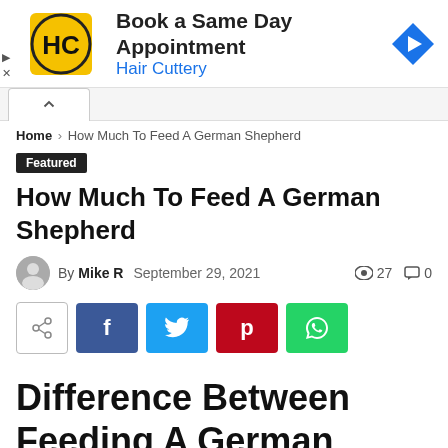[Figure (infographic): Hair Cuttery advertisement banner with HC logo, 'Book a Same Day Appointment' heading, 'Hair Cuttery' subheading in blue, and a blue diamond navigation arrow on the right.]
[Figure (infographic): Navigation bar with up-arrow button and breadcrumb: Home > How Much To Feed A German Shepherd]
Featured
How Much To Feed A German Shepherd
By Mike R   September 29, 2021   👁 27   💬 0
[Figure (infographic): Social share buttons: share toggle, Facebook (f), Twitter (bird), Pinterest (p), WhatsApp (phone)]
Difference Between Feeding A German Shepherd Adult &